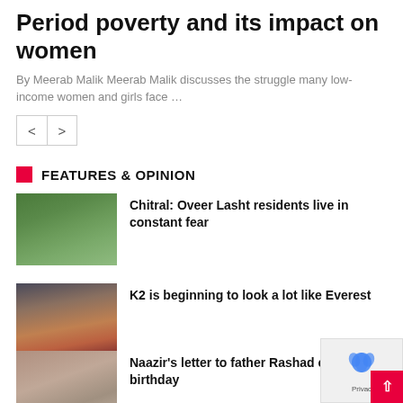Period poverty and its impact on women
By Meerab Malik Meerab Malik discusses the struggle many low-income women and girls face …
FEATURES & OPINION
[Figure (photo): Mountain valley with green trees and white structures in Chitral, Pakistan]
Chitral: Oveer Lasht residents live in constant fear
[Figure (photo): Climbers ascending an orange/brown rocky mountain slope with dark sky, resembling K2]
K2 is beginning to look a lot like Everest
[Figure (photo): Portrait of an elderly man, Rashad]
Naazir's letter to father Rashad on his 9… birthday